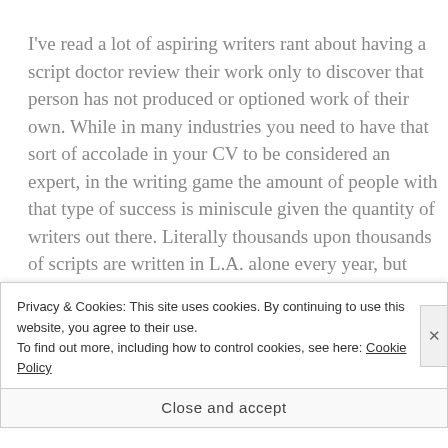I've read a lot of aspiring writers rant about having a script doctor review their work only to discover that person has not produced or optioned work of their own. While in many industries you need to have that sort of accolade in your CV to be considered an expert, in the writing game the amount of people with that type of success is miniscule given the quantity of writers out there. Literally thousands upon thousands of scripts are written in L.A. alone every year, but how many do you
Privacy & Cookies: This site uses cookies. By continuing to use this website, you agree to their use.
To find out more, including how to control cookies, see here: Cookie Policy
Close and accept